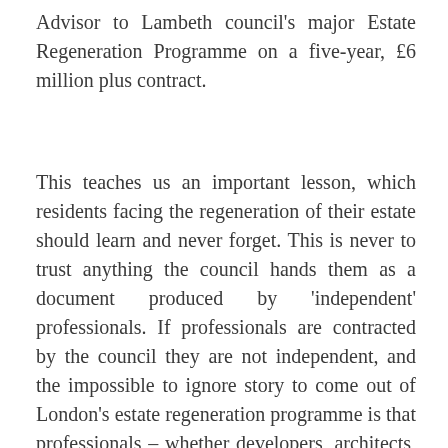Advisor to Lambeth council's major Estate Regeneration Programme on a five-year, £6 million plus contract.
This teaches us an important lesson, which residents facing the regeneration of their estate should learn and never forget. This is never to trust anything the council hands them as a document produced by 'independent' professionals. If professionals are contracted by the council they are not independent, and the impossible to ignore story to come out of London's estate regeneration programme is that professionals – whether developers, architects, engineers, or consultants – will